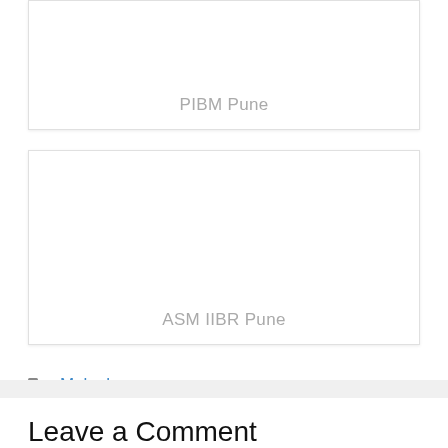[Figure (other): Card/box placeholder with label 'PIBM Pune']
[Figure (other): Card/box placeholder with label 'ASM IIBR Pune']
Melaghar
Leave a Comment